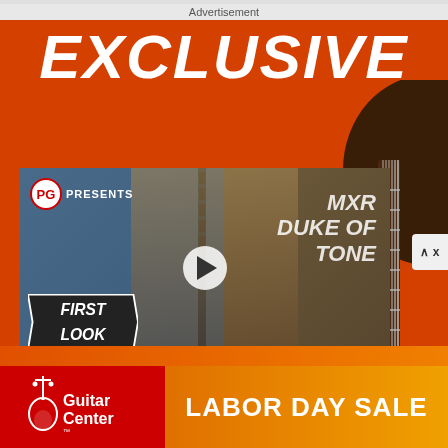Advertisement
EXCLUSIVE
[Figure (screenshot): Video thumbnail showing PG Presents: MXR Duke of Tone – First Look, with a person holding a guitar, play button overlay]
[Figure (logo): Guitar Center logo with Labor Day Sale banner in red and orange gradient]